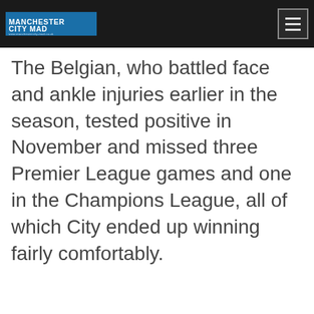MANCHESTER CITY MAD www.manchestercity-mad.co.uk
The Belgian, who battled face and ankle injuries earlier in the season, tested positive in November and missed three Premier League games and one in the Champions League, all of which City ended up winning fairly comfortably.